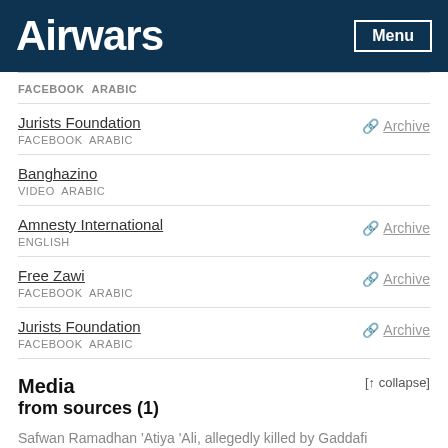Airwars | Menu
FACEBOOK  ARABIC
Jurists Foundation | Archive
FACEBOOK  ARABIC
Banghazino
VIDEO  ARABIC
Amnesty International | Archive
ENGLISH
Free Zawi | Archive
FACEBOOK  ARABIC
Jurists Foundation | Archive
FACEBOOK  ARABIC
Media from sources (1)
Safwan Ramadhan 'Atiya 'Ali, allegedly killed by Gaddafi